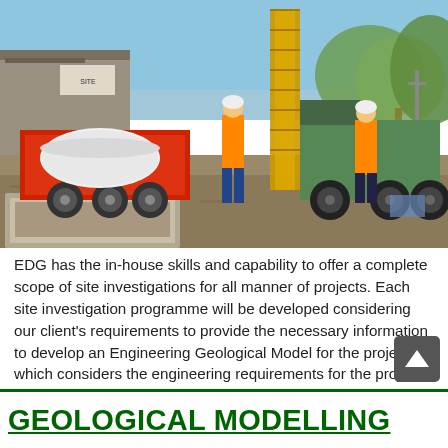[Figure (photo): Outdoor construction site photo showing two workers in orange high-visibility jackets and white hard hats operating a large drilling rig mounted on a truck. A red trailer with a white water tank is on the left. A concrete mixing pit is in the foreground. Industrial buildings and eucalyptus trees are in the background under a clear blue sky.]
EDG has the in-house skills and capability to offer a complete scope of site investigations for all manner of projects. Each site investigation programme will be developed considering our client's requirements to provide the necessary information to develop an Engineering Geological Model for the project, which considers the engineering requirements for the project in context [...]
GEOLOGICAL MODELLING